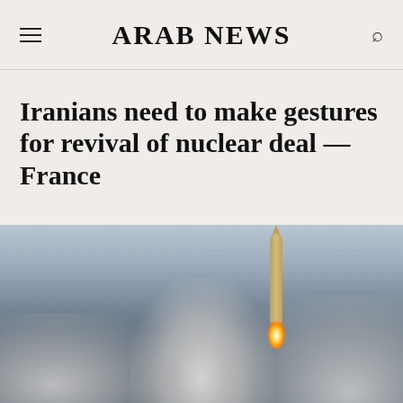ARAB NEWS
Iranians need to make gestures for revival of nuclear deal — France
[Figure (photo): A missile launching with smoke and flame visible at the base, against a grey-blue sky background]